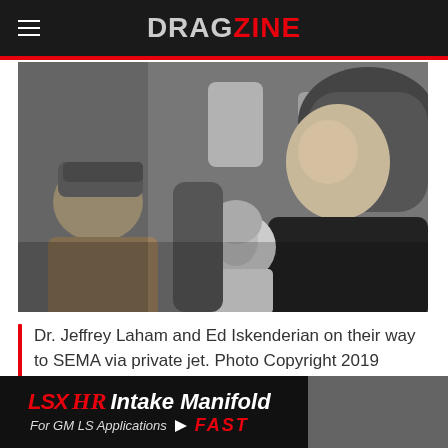DRAGZINE
[Figure (photo): Black and white photo of Dr. Jeffrey Laham and Ed Iskenderian seated in a private jet, with a woman visible in the background.]
Dr. Jeffrey Laham and Ed Iskenderian on their way to SEMA via private jet. Photo Copyright 2019 Vigilants LLC.  All rights reserved.
[Figure (photo): Advertisement banner for LSX HR Intake Manifold for GM LS Applications by FAST.]